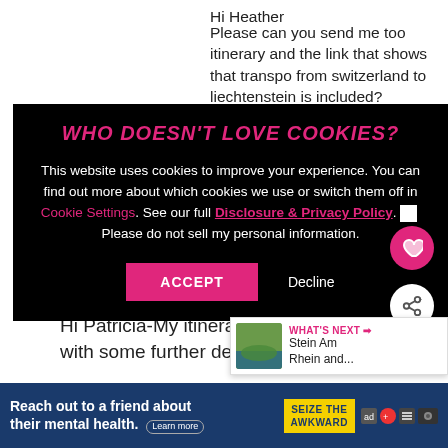Hi Heather
Please can you send me too itinerary and the link that shows that transpo from switzerland to liechtenstein is included?
[Figure (screenshot): Cookie consent overlay on dark background. Title: WHO DOESN'T LOVE COOKIES? Body: This website uses cookies to improve your experience. You can find out more about which cookies we use or switch them off in Cookie Settings. See our full Disclosure & Privacy Policy. Checkbox: Please do not sell my personal information. Buttons: ACCEPT and Decline.]
Hi Patricia-My itinerary is in the post with some further details in the
[Figure (screenshot): Advertisement bar: Reach out to a friend about their mental health. Learn more. SEIZE THE AWKWARD badge. Various sponsor logos.]